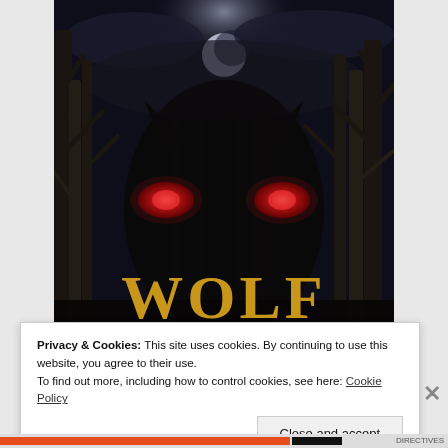[Figure (illustration): Book cover for 'Wolf in League – Wolf Book Three'. Dark, moody forest scene at night with moonlight. A creature with glowing red eyes visible among dark trees. Title text 'WOLF IN LEAGUE' in large gold serif letters, subtitle 'WOLF – BOOK THREE' below.]
Privacy & Cookies: This site uses cookies. By continuing to use this website, you agree to their use.
To find out more, including how to control cookies, see here: Cookie Policy
Close and accept